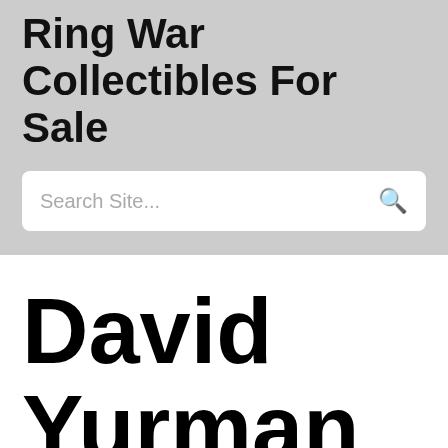Ring War Collectibles For Sale
Search Site...
David Yurman